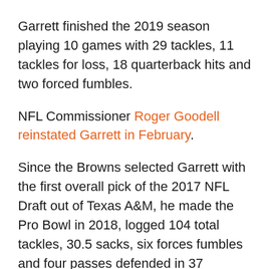Garrett finished the 2019 season playing 10 games with 29 tackles, 11 tackles for loss, 18 quarterback hits and two forced fumbles.
NFL Commissioner Roger Goodell reinstated Garrett in February.
Since the Browns selected Garrett with the first overall pick of the 2017 NFL Draft out of Texas A&M, he made the Pro Bowl in 2018, logged 104 total tackles, 30.5 sacks, six forces fumbles and four passes defended in 37 games.